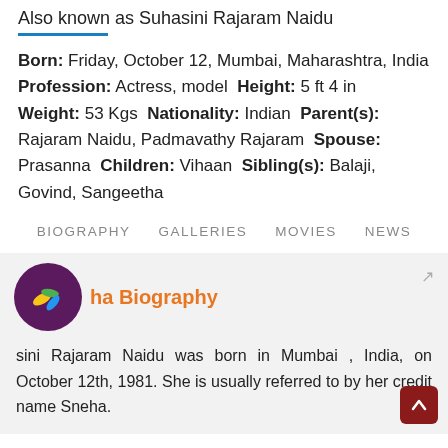Also known as Suhasini Rajaram Naidu
Born: Friday, October 12, Mumbai, Maharashtra, India Profession: Actress, model Height: 5 ft 4 in Weight: 53 Kgs Nationality: Indian Parent(s): Rajaram Naidu, Padmavathy Rajaram Spouse: Prasanna Children: Vihaan Sibling(s): Balaji, Govind, Sangeetha
BIOGRAPHY   GALLERIES   MOVIES   NEWS
Sneha Biography
Suhasini Rajaram Naidu was born in Mumbai , India, on October 12th, 1981. She is usually referred to by her credit name Sneha.